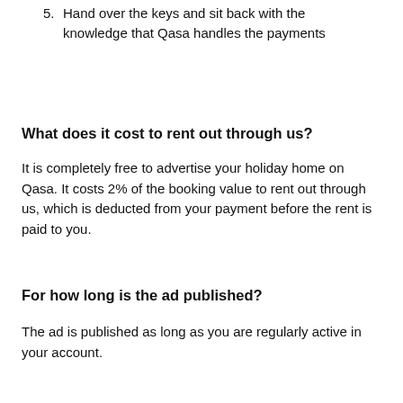5. Hand over the keys and sit back with the knowledge that Qasa handles the payments
What does it cost to rent out through us?
It is completely free to advertise your holiday home on Qasa. It costs 2% of the booking value to rent out through us, which is deducted from your payment before the rent is paid to you.
For how long is the ad published?
The ad is published as long as you are regularly active in your account.